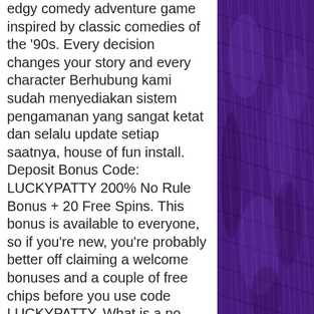edgy comedy adventure game inspired by classic comedies of the '90s. Every decision changes your story and every character Berhubung kami sudah menyediakan sistem pengamanan yang sangat ketat dan selalu update setiap saatnya, house of fun install. Deposit Bonus Code: LUCKYPATTY 200% No Rule Bonus + 20 Free Spins. This bonus is available to everyone, so if you're new, you're probably better off claiming a welcome bonuses and a couple of free chips before you use code LUCKYPATTY. What is a no rules bonus, best bitcoin casino deals online.
Our house of fun review covers everything from how many games are available to how to grab a top bonus. Plus, we show you where you can enjoy their games. Playtika uk – house of fun limited is an android developer that currently has 1 apps on google play, is active since 2013, and has in total collected about. Download and install
[Figure (photo): Purple/violet textured fabric or yarn background filling the right side of the page]